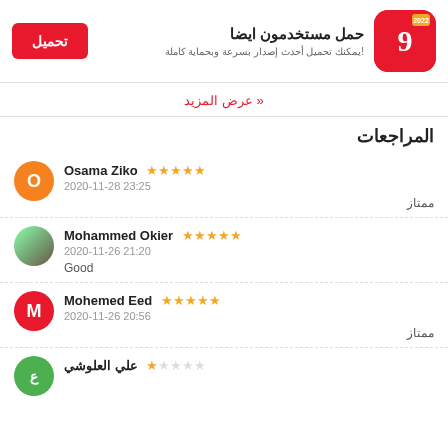[Figure (screenshot): App download banner with red app icon (number 9 logo), Arabic app title 'حمل مستخدمون ايضا', Arabic description, and red download button labeled 'تحميل']
عرض المزيد »
المراجعات
Osama Ziko ★★★★★ 2020-11-28 23:25 ممتاز
Mohammed Okier ★★★★★ 2020-11-26 21:20 Good
Mohemed Eed ★★★★★ 2020-11-26 20:56 ممتاز
علي العلوشي ★☆☆☆☆